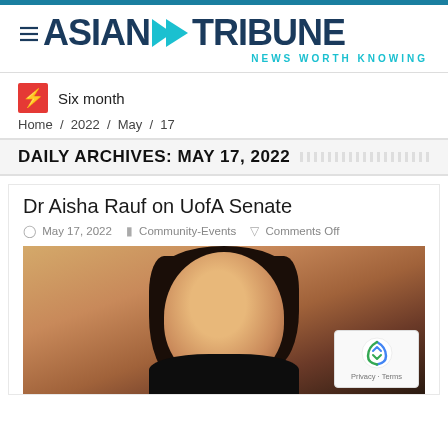[Figure (logo): Asian Tribune logo with chevron arrow and tagline NEWS WORTH KNOWING]
Six month
Home / 2022 / May / 17
DAILY ARCHIVES: MAY 17, 2022
Dr Aisha Rauf on UofA Senate
May 17, 2022   Community-Events   Comments Off
[Figure (photo): Portrait photo of Dr Aisha Rauf, a woman with dark curly hair, smiling, wearing a black outfit with red lipstick and a nose ring]